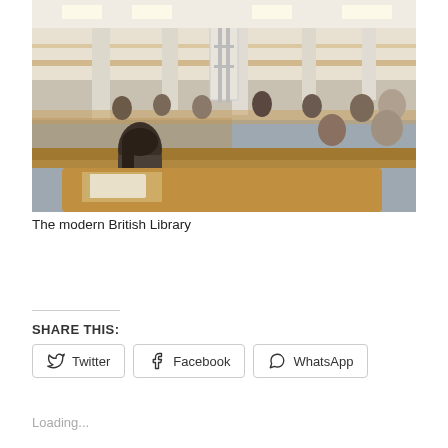[Figure (photo): Interior of the modern British Library reading room showing multiple floors, people studying at wooden desks with computers and books. A young woman is prominent in the foreground studying at a desk.]
The modern British Library
SHARE THIS:
Twitter  Facebook  WhatsApp
Loading...